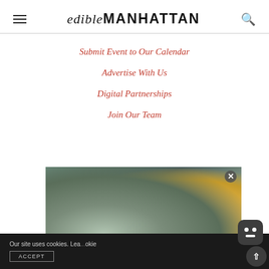edibleMANHATTAN
Submit Event to Our Calendar
Advertise With Us
Digital Partnerships
Join Our Team
[Figure (photo): Advertisement showing oysters on ice with lemon slices]
Help us improve by sharing your feedback.
Our site uses cookies. Lea... okie
ACCEPT